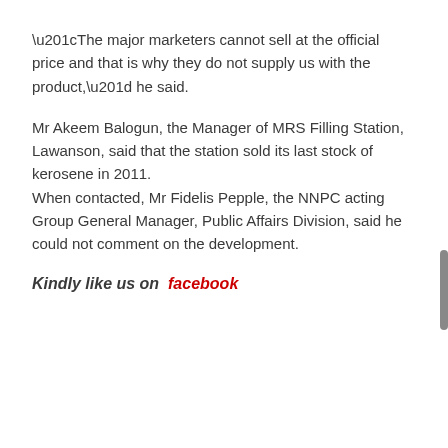“The major marketers cannot sell at the official price and that is why they do not supply us with the product,” he said.
Mr Akeem Balogun, the Manager of MRS Filling Station, Lawanson, said that the station sold its last stock of kerosene in 2011.
When contacted, Mr Fidelis Pepple, the NNPC acting Group General Manager, Public Affairs Division, said he could not comment on the development.
Kindly like us on  facebook